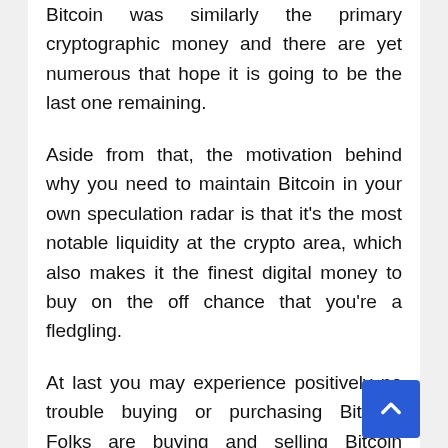Bitcoin was similarly the primary cryptographic money and there are yet numerous that hope it is going to be the last one remaining.
Aside from that, the motivation behind why you need to maintain Bitcoin in your own speculation radar is that it's the most notable liquidity at the crypto area, which also makes it the finest digital money to buy on the off chance that you're a fledgling.
At last you may experience positively no trouble buying or purchasing Bitcoin. Folks are buying and selling Bitcoin relentlessly.
There'll always be someone on the opposite conclusion ready to organize your petition. That too as Bitcoin is also regarded as possibly the